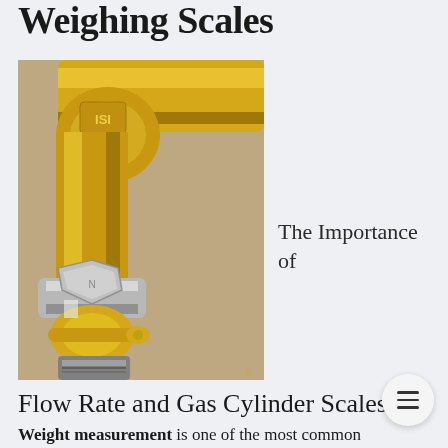Weighing Scales
[Figure (photo): Close-up photo of a yellow painted gas pipe elbow connector with a brass ball valve and metal union fitting, against a beige/tan background]
The Importance of
Flow Rate and Gas Cylinder Scales Op
Weight measurement is one of the most common